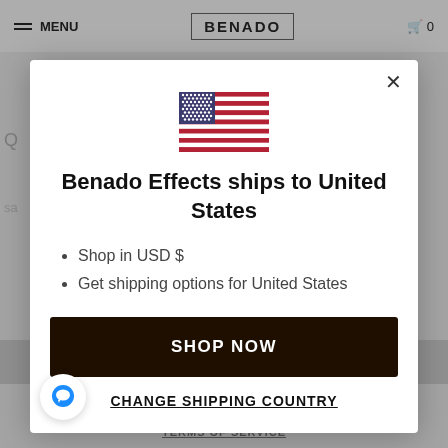MENU  BENADO  0
[Figure (screenshot): Modal dialog showing Benado Effects ships to United States with US flag, bullet points, Shop Now button, and Change Shipping Country link]
Benado Effects ships to United States
Shop in USD $
Get shipping options for United States
SHOP NOW
CHANGE SHIPPING COUNTRY
TERMS OF SERVICE